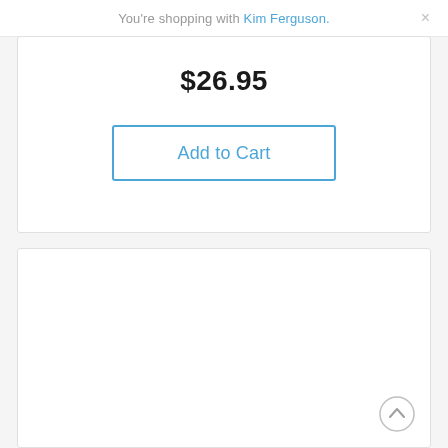You're shopping with Kim Ferguson.
$26.95
Add to Cart